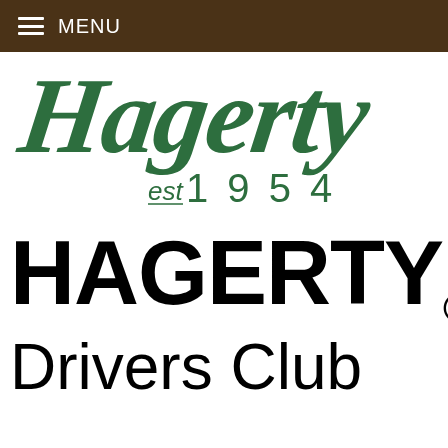≡ MENU
[Figure (logo): Hagerty cursive script logo with 'est 1954' in green]
[Figure (logo): HAGERTY® Drivers Club wordmark in black bold text]